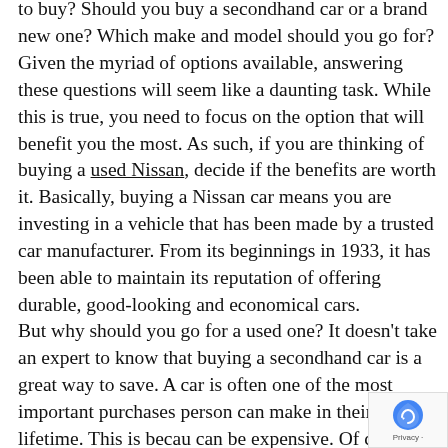to buy? Should you buy a secondhand car or a brand new one? Which make and model should you go for? Given the myriad of options available, answering these questions will seem like a daunting task. While this is true, you need to focus on the option that will benefit you the most. As such, if you are thinking of buying a used Nissan, decide if the benefits are worth it. Basically, buying a Nissan car means you are investing in a vehicle that has been made by a trusted car manufacturer. From its beginnings in 1933, it has been able to maintain its reputation of offering durable, good-looking and economical cars.
But why should you go for a used one? It doesn't take an expert to know that buying a secondhand car is a great way to save. A car is often one of the most important purchases person can make in their entire lifetime. This is because can be expensive. Of course, with used cars being easily accessible, actually owning a car doesn't have to cost so